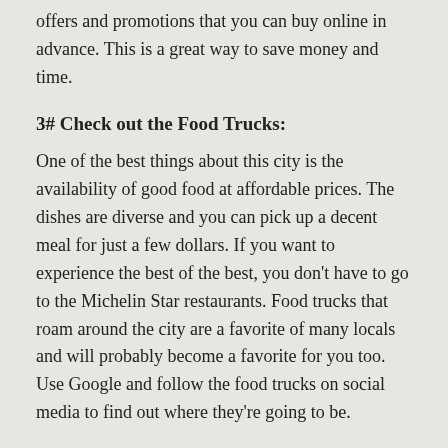offers and promotions that you can buy online in advance. This is a great way to save money and time.
3# Check out the Food Trucks:
One of the best things about this city is the availability of good food at affordable prices. The dishes are diverse and you can pick up a decent meal for just a few dollars. If you want to experience the best of the best, you don't have to go to the Michelin Star restaurants. Food trucks that roam around the city are a favorite of many locals and will probably become a favorite for you too. Use Google and follow the food trucks on social media to find out where they're going to be.
4# The LA Happy Hour is Awesome:
If you're traveling on a budget, a great way to save a